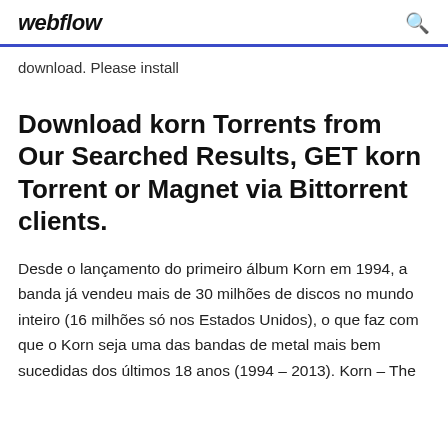webflow
download. Please install
Download korn Torrents from Our Searched Results, GET korn Torrent or Magnet via Bittorrent clients.
Desde o lançamento do primeiro álbum Korn em 1994, a banda já vendeu mais de 30 milhões de discos no mundo inteiro (16 milhões só nos Estados Unidos), o que faz com que o Korn seja uma das bandas de metal mais bem sucedidas dos últimos 18 anos (1994 – 2013). Korn – The